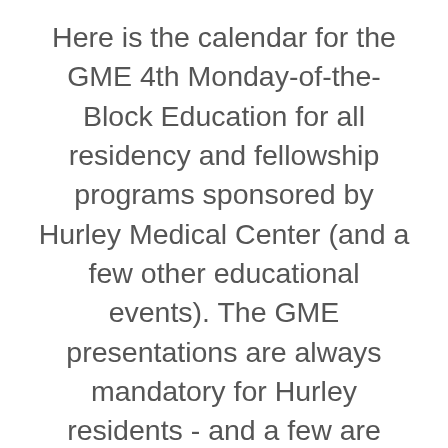Here is the calendar for the GME 4th Monday-of-the-Block Education for all residency and fellowship programs sponsored by Hurley Medical Center (and a few other educational events). The GME presentations are always mandatory for Hurley residents - and a few are mandatory for residents and fellows at Hurley, even if they're from a different institution. Select a single event for more details or to add it to your calendar. Or select the Google Calendar icon at bottom right to